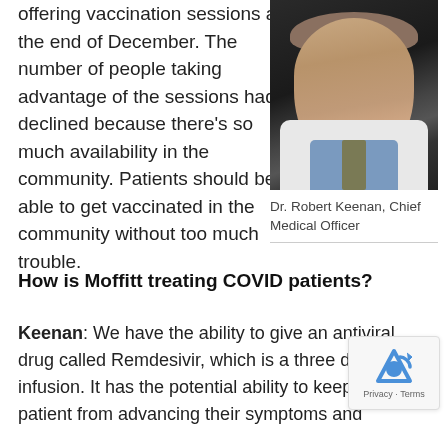offering vaccination sessions at the end of December. The number of people taking advantage of the sessions had declined because there's so much availability in the community. Patients should be able to get vaccinated in the community without too much trouble.
[Figure (photo): Professional headshot of Dr. Robert Keenan, Chief Medical Officer, wearing a white lab coat and tie, against a dark background.]
Dr. Robert Keenan, Chief Medical Officer
How is Moffitt treating COVID patients?
Keenan: We have the ability to give an antiviral drug called Remdesivir, which is a three day infusion. It has the potential ability to keep a patient from advancing their symptoms and